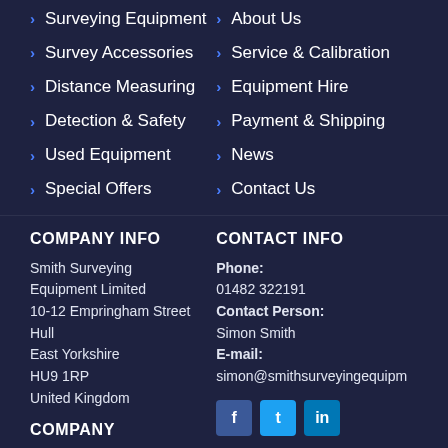> Surveying Equipment
> Survey Accessories
> Distance Measuring
> Detection & Safety
> Used Equipment
> Special Offers
> About Us
> Service & Calibration
> Equipment Hire
> Payment & Shipping
> News
> Contact Us
COMPANY INFO
Smith Surveying Equipment Limited
10-12 Empringham Street
Hull
East Yorkshire
HU9 1RP
United Kingdom
CONTACT INFO
Phone: 01482 322191
Contact Person: Simon Smith
E-mail: simon@smithsurveyingequipm
Company
[Figure (illustration): Social media icons: Facebook (blue), Twitter (light blue), LinkedIn (dark blue)]